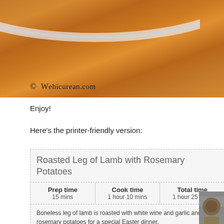[Figure (photo): Top portion shows a wooden surface (cutting board) with a decorative plate partially visible at the top. Copyright watermark reads '© Webicurean.com' in stylized text at the bottom left of the photo.]
Enjoy!
Here's the printer-friendly version:
Roasted Leg of Lamb with Rosemary Potatoes
| Prep time | Cook time | Total time |
| --- | --- | --- |
| 15 mins | 1 hour 10 mins | 1 hour 25 mins |
Boneless leg of lamb is roasted with white wine and garlic and rosemary potatoes for a special Easter dinner.
Author: Anne Papina
Recipe type: Main
Cuisine: American
Serves: 4-6
Ingredients